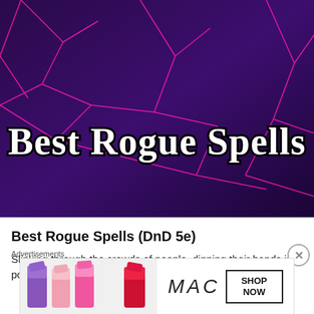[Figure (illustration): Dark purple and black background with neon pink geometric line art patterns. Large decorative text 'Best Rogue Spells' in white with heavy black outline, styled in a fantasy game font.]
BY MIKE K.
Best Rogue Spells (DnD 5e)
Slinking through the crowds of people, dipping their hands into pockets, and keeping a blade at the ready, the rogue is not
Advertisements
[Figure (photo): MAC cosmetics advertisement banner showing lipsticks in purple, pink and red shades on the left, MAC logo and wordmark in the center, and a 'SHOP NOW' button box on the right.]